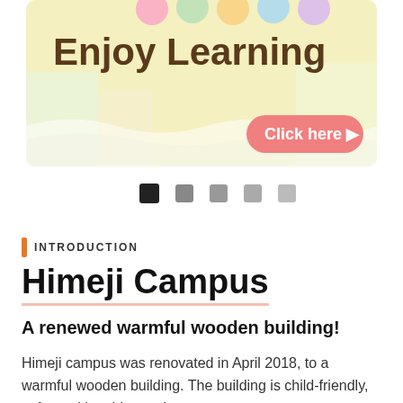[Figure (illustration): Colorful educational banner with 'Enjoy Learning' text on a pastel background with a pink 'Click here' button and decorative circles at the top]
[Figure (infographic): Five small squares as carousel/slider navigation dots, first one black and the rest grey]
INTRODUCTION
Himeji Campus
A renewed warmful wooden building!
Himeji campus was renovated in April 2018, to a warmful wooden building. The building is child-friendly, safe, and has bigger classrooms.